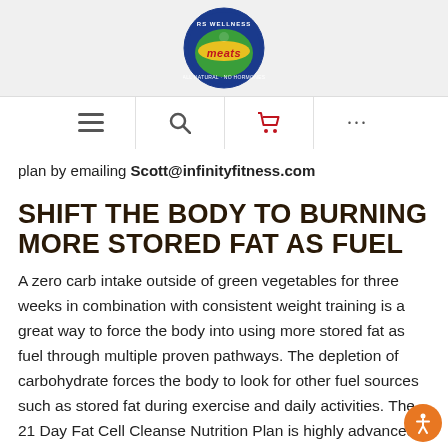[Figure (logo): RS Wellness Meats circular logo with blue, green, and red colors]
Navigation bar with menu, search, cart, and more icons
plan by emailing Scott@infinityfitness.com
SHIFT THE BODY TO BURNING MORE STORED FAT AS FUEL
A zero carb intake outside of green vegetables for three weeks in combination with consistent weight training is a great way to force the body into using more stored fat as fuel through multiple proven pathways. The depletion of carbohydrate forces the body to look for other fuel sources such as stored fat during exercise and daily activities. The 21 Day Fat Cell Cleanse Nutrition Plan is highly advanced